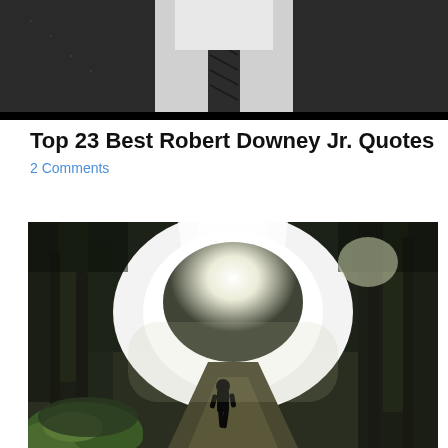[Figure (photo): Black and white photo of a man in a suit and tie, cropped to show torso and lower face]
Top 23 Best Robert Downey Jr. Quotes
2 Comments
[Figure (photo): A person walking along a misty forest path with dramatic light rays breaking through the trees]